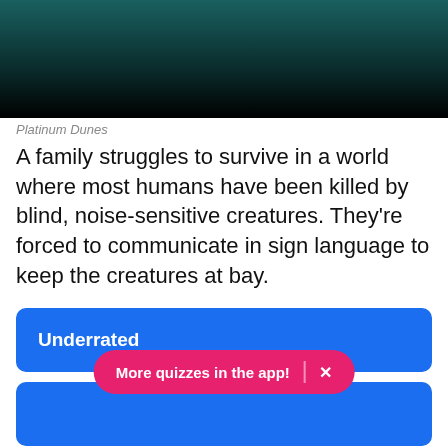[Figure (photo): Dark teal/green background, bottom portion of a movie scene image]
Platinum Dunes
A family struggles to survive in a world where most humans have been killed by blind, noise-sensitive creatures. They're forced to communicate in sign language to keep the creatures at bay.
Underrated
Overrated
Appropriately Rated
More quizzes in the app!